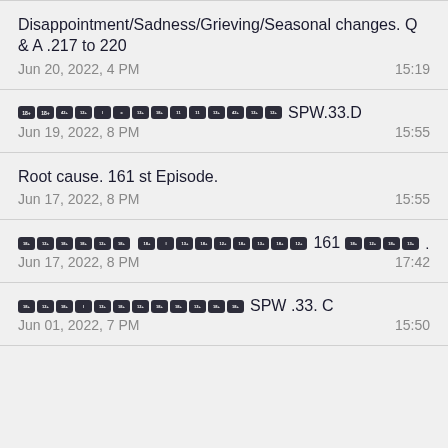Disappointment/Sadness/Grieving/Seasonal changes. Q & A .217 to 220
Jun 20, 2022, 4 PM  15:19
[badges] SPW.33.D
Jun 19, 2022, 8 PM  15:55
Root cause. 161 st Episode.
Jun 17, 2022, 8 PM  15:55
[badges] 161 [badge] [badges].
Jun 17, 2022, 8 PM  17:42
[badges]SPW .33. C
Jun 01, 2022, 7 PM  15:50